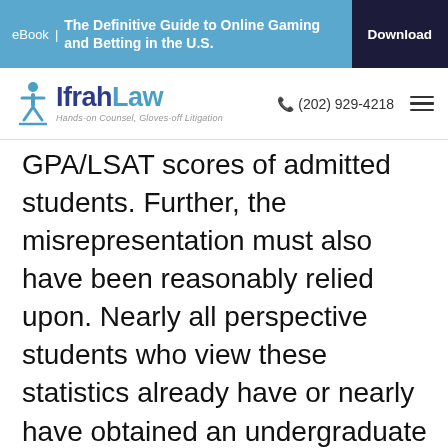eBook | The Definitive Guide to Online Gaming and Betting in the U.S. [Download]
IfrahLaw — Hands-on Counsel, Gloves-off Litigation | (202) 929-4218
GPA/LSAT scores of admitted students. Further, the misrepresentation must also have been reasonably relied upon. Nearly all perspective students who view these statistics already have or nearly have obtained an undergraduate degree. It may not be reasonable to assume that these highly educated consumers have actually relied on claims of a 90 percent-plus employment rate in today's economy, where unemployment is known to be historically high. The FTC